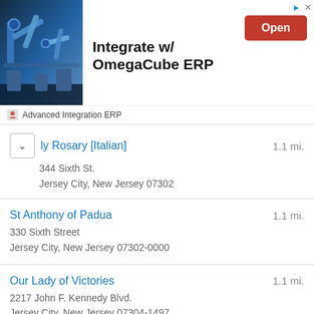[Figure (screenshot): Advertisement banner for OmegaCube ERP integration software, showing an industrial robotic arm image on the left, the text 'Integrate w/ OmegaCube ERP' in bold in the center, and a red 'Open' button on the right. Below is 'Advanced Integration ERP' with a small logo icon.]
ly Rosary [Italian]  1.1 mi.
344 Sixth St.
Jersey City, New Jersey 07302
St Anthony of Padua  1.1 mi.
330 Sixth Street
Jersey City, New Jersey 07302-0000
Our Lady of Victories  1.1 mi.
2217 John F. Kennedy Blvd.
Jersey City, New Jersey 07304-1497
Our Lady of Czestochowa  1.2 mi.
120 Sussex St.
Jersey City, New Jersey 07302-4402